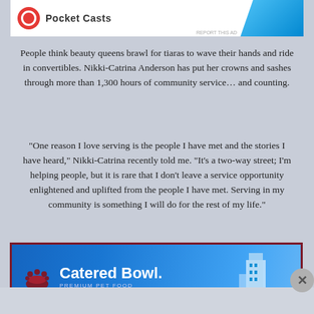[Figure (other): Top advertisement banner with Pocket Casts logo (red circle) and blue gradient shape on the right]
People think beauty queens brawl for tiaras to wave their hands and ride in convertibles. Nikki-Catrina Anderson has put her crowns and sashes through more than 1,300 hours of community service… and counting.
“One reason I love serving is the people I have met and the stories I have heard,” Nikki-Catrina recently told me. “It’s a two-way street; I’m helping people, but it is rare that I don’t leave a service opportunity enlightened and uplifted from the people I have met. Serving in my community is something I will do for the rest of my life.”
[Figure (other): Bottom advertisement banner for Catered Bowl Premium Pet Food with a building graphic on a blue background, framed with dark red border]
Advertisements